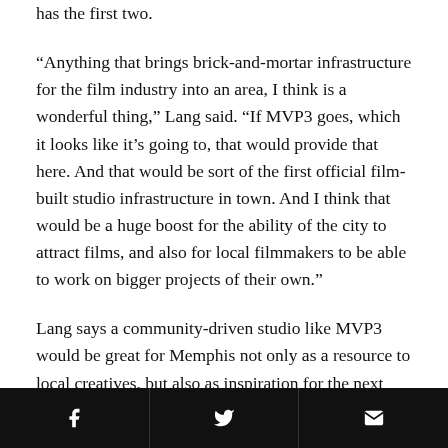has the first two.
“Anything that brings brick-and-mortar infrastructure for the film industry into an area, I think is a wonderful thing,” Lang said. “If MVP3 goes, which it looks like it’s going to, that would provide that here. And that would be sort of the first official film-built studio infrastructure in town. And I think that would be a huge boost for the ability of the city to attract films, and also for local filmmakers to be able to work on bigger projects of their own.”
Lang says a community-driven studio like MVP3 would be great for Memphis not only as a resource to local creatives, but also as inspiration for the next generation.
“If you don’t see it, it’s hard for you to imagine yourself
f  [Twitter bird]  [envelope]